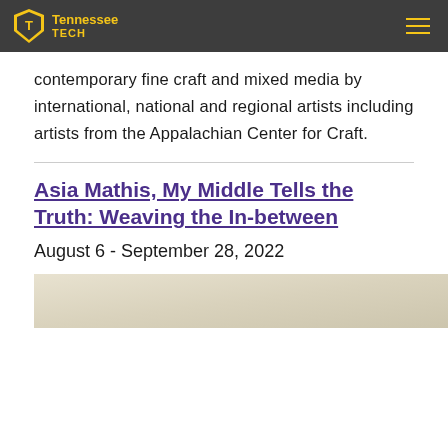Tennessee Tech
contemporary fine craft and mixed media by international, national and regional artists including artists from the Appalachian Center for Craft.
Asia Mathis, My Middle Tells the Truth: Weaving the In-between
August 6 - September 28, 2022
[Figure (photo): Partial view of a gallery interior with light beige/tan walls and floor.]